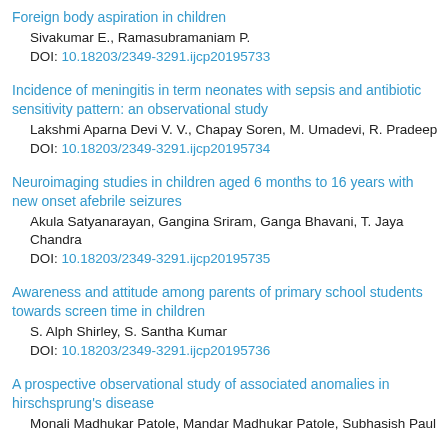Foreign body aspiration in children
Sivakumar E., Ramasubramaniam P.
DOI: 10.18203/2349-3291.ijcp20195733
Incidence of meningitis in term neonates with sepsis and antibiotic sensitivity pattern: an observational study
Lakshmi Aparna Devi V. V., Chapay Soren, M. Umadevi, R. Pradeep
DOI: 10.18203/2349-3291.ijcp20195734
Neuroimaging studies in children aged 6 months to 16 years with new onset afebrile seizures
Akula Satyanarayan, Gangina Sriram, Ganga Bhavani, T. Jaya Chandra
DOI: 10.18203/2349-3291.ijcp20195735
Awareness and attitude among parents of primary school students towards screen time in children
S. Alph Shirley, S. Santha Kumar
DOI: 10.18203/2349-3291.ijcp20195736
A prospective observational study of associated anomalies in hirschsprung's disease
Monali Madhukar Patole, Mandar Madhukar Patole, Subhasish Paul